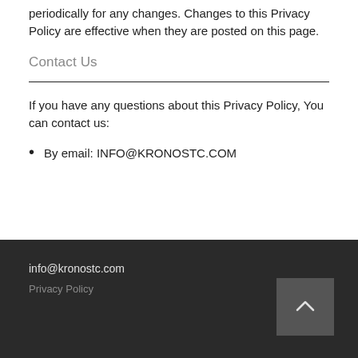You are advised to review this Privacy Policy periodically for any changes. Changes to this Privacy Policy are effective when they are posted on this page.
Contact Us
If you have any questions about this Privacy Policy, You can contact us:
By email: INFO@KRONOSTC.COM
info@kronostc.com
Privacy Policy